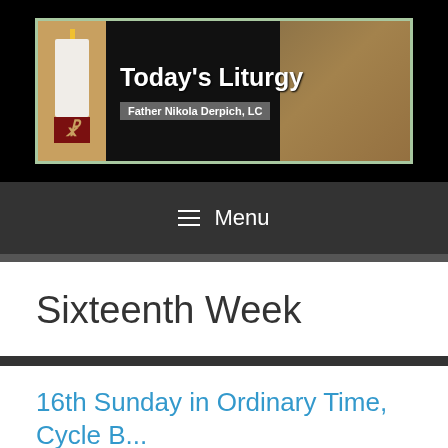[Figure (logo): Today's Liturgy website header banner with candle image on left, title 'Today's Liturgy' and subtitle 'Father Nikola Derpich, LC' on dark background, book image on right]
≡ Menu
Sixteenth Week
16th Sunday in Ordinary Time, Cycle B...